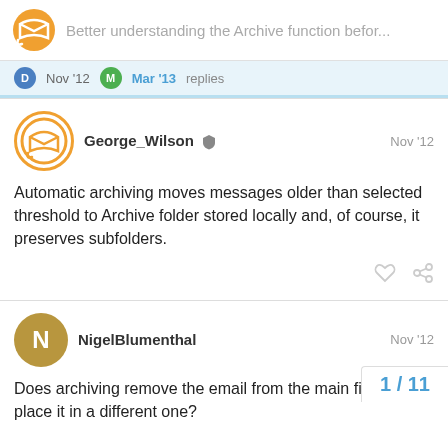Better understanding the Archive function befor...
Nov '12  Mar '13  replies
George_Wilson  Nov '12
Automatic archiving moves messages older than selected threshold to Archive folder stored locally and, of course, it preserves subfolders.
NigelBlumenthal  Nov '12
Does archiving remove the email from the main file and place it in a different one?
One of the things I really like about eMClie... actually search all folders and subfolders
1 / 11